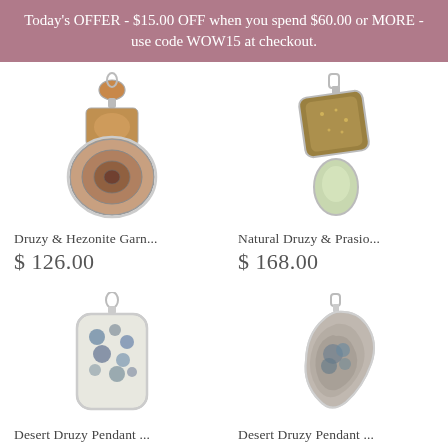Today's OFFER - $15.00 OFF when you spend $60.00 or MORE - use code WOW15 at checkout.
[Figure (photo): Druzy and Hezonite Garnet gemstone pendant in silver setting]
Druzy & Hezonite Garn...
$ 126.00
[Figure (photo): Natural Druzy and Prasio... gemstone pendant in silver setting]
Natural Druzy & Prasio...
$ 168.00
[Figure (photo): Desert Druzy Pendant in silver rectangular setting]
Desert Druzy Pendant ...
[Figure (photo): Desert Druzy Pendant in silver rough organic setting]
Desert Druzy Pendant ...